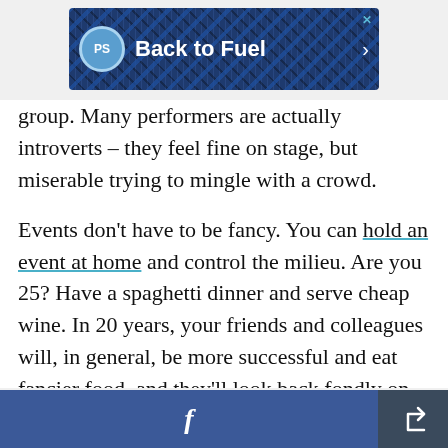[Figure (screenshot): Advertisement banner with tartan/plaid dark blue background, PS circular logo, text 'Back to Fuel', and right arrow. X close button in top right corner.]
group. Many performers are actually introverts – they feel fine on stage, but miserable trying to mingle with a crowd.
Events don't have to be fancy. You can hold an event at home and control the milieu. Are you 25? Have a spaghetti dinner and serve cheap wine. In 20 years, your friends and colleagues will, in general, be more successful and eat fancier food, and they'll look back fondly on all the amazing connections they made sitting on your living room
[Figure (screenshot): Bottom navigation bar with Facebook share button (blue) and a share/export icon button (dark grey).]